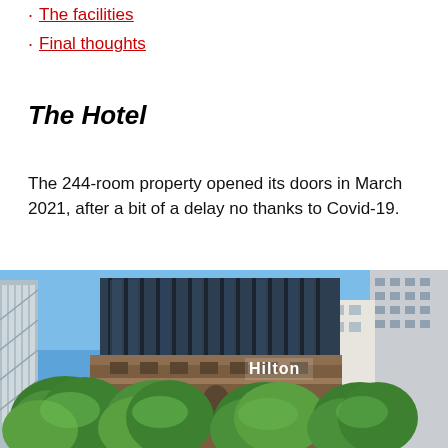The facilities
Final thoughts
The Hotel
The 244-room property opened its doors in March 2021, after a bit of a delay no thanks to Covid-19.
[Figure (photo): Exterior photograph of the Hilton hotel building, showing a historic stone building with arched windows topped by a modern glass structure with vertical mullions, surrounded by green trees, with other city buildings visible in the background under a blue sky.]